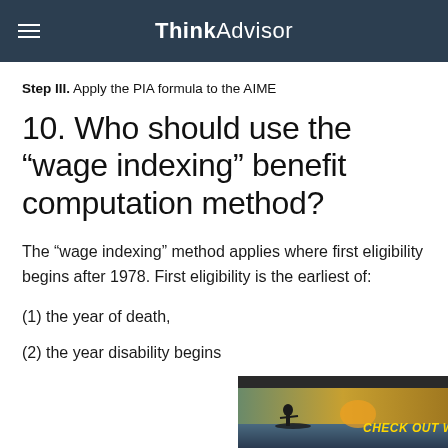ThinkAdvisor
Step III. Apply the PIA formula to the AIME
10. Who should use the “wage indexing” benefit computation method?
The “wage indexing” method applies where first eligibility begins after 1978. First eligibility is the earliest of:
(1) the year of death,
(2) the year disability begins
[Figure (photo): Advertisement overlay showing a silhouette of a person kayaking at sunset on water, with gold text reading CHECK OUT WHAT]